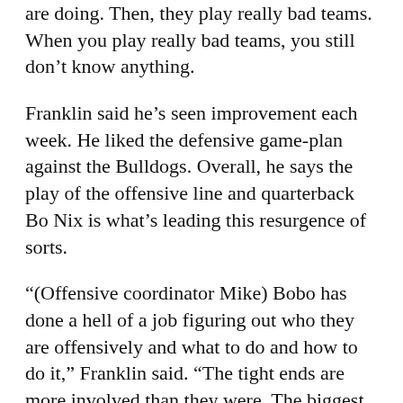are doing. Then, they play really bad teams. When you play really bad teams, you still don’t know anything.
Franklin said he’s seen improvement each week. He liked the defensive game-plan against the Bulldogs. Overall, he says the play of the offensive line and quarterback Bo Nix is what’s leading this resurgence of sorts.
“(Offensive coordinator Mike) Bobo has done a hell of a job figuring out who they are offensively and what to do and how to do it,” Franklin said. “The tight ends are more involved than they were. The biggest thing is that the offensive line has gotten better because the offensive line was bad. They have gotten a lot better. That’s what good coaching is. Good coaching is